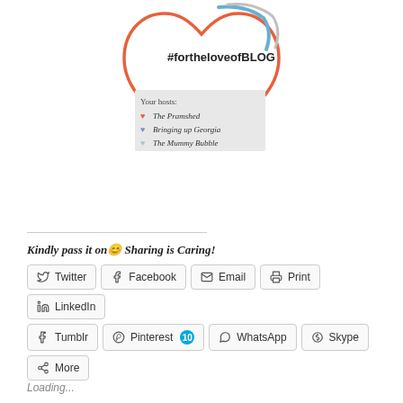[Figure (logo): #fortheloveofBLOG logo with heart shape and hosts list: The Pramshed, Bringing up Georgia, The Mummy Bubble]
Kindly pass it on 😊 Sharing is Caring!
Twitter
Facebook
Email
Print
LinkedIn
Tumblr
Pinterest 10
WhatsApp
Skype
More
Loading...